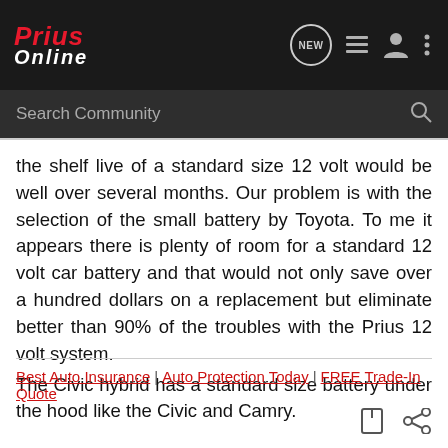Prius Online — Search Community
the shelf live of a standard size 12 volt would be well over several months. Our problem is with the selection of the small battery by Toyota. To me it appears there is plenty of room for a standard 12 volt car battery and that would not only save over a hundred dollars on a replacement but eliminate better than 90% of the troubles with the Prius 12 volt system. The Civic hybrid has a standard size battery under the hood like the Civic and Camry.
Best Auto Insurance | Auto Protection Today | FREE Trade-In Quote